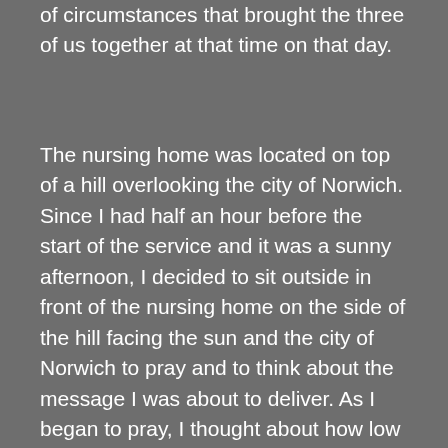of circumstances that brought the three of us together at that time on that day.
The nursing home was located on top of a hill overlooking the city of Norwich. Since I had half an hour before the start of the service and it was a sunny afternoon, I decided to sit outside in front of the nursing home on the side of the hill facing the sun and the city of Norwich to pray and to think about the message I was about to deliver. As I began to pray, I thought about how low my spirituality had been over the previous month and it caused me to begin to cry. I had been so busy